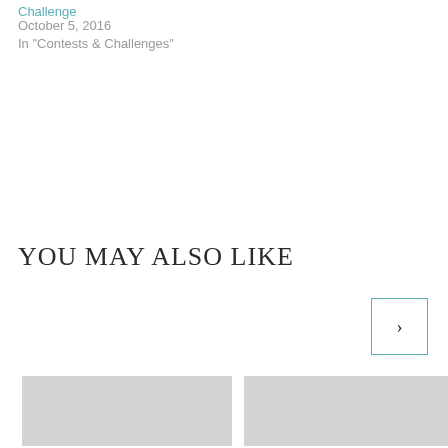Challenge
October 5, 2016
In "Contests & Challenges"
YOU MAY ALSO LIKE
[Figure (other): Navigation next button (right arrow in teal-bordered box)]
[Figure (photo): Thumbnail image placeholder (left)]
[Figure (photo): Thumbnail image placeholder (right)]